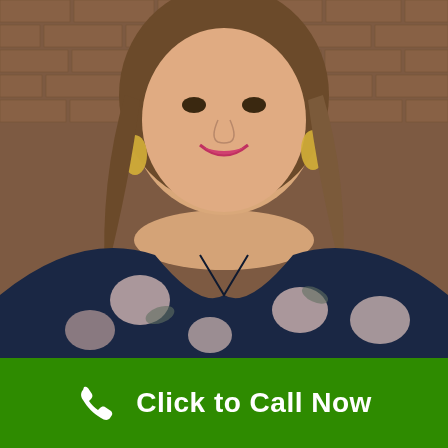[Figure (photo): Professional headshot of a smiling woman with long brown hair, wearing gold drop earrings and a navy blue floral wrap dress. Background is a blurred brick wall.]
Click to Call Now